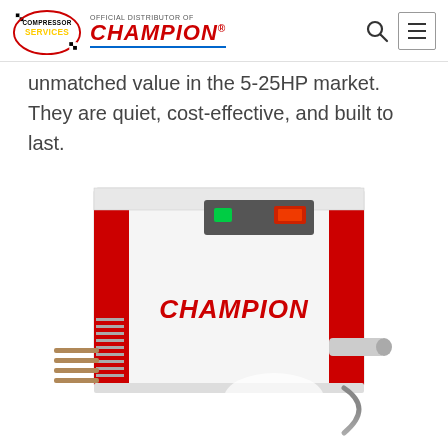Compressor Services – Official Distributor of Champion
unmatched value in the 5-25HP market. They are quiet, cost-effective, and built to last.
[Figure (photo): Champion brand air dryer / compressor unit, white and red cabinet with logo on front panel, control panel with green and red indicators on top, ventilation grilles and piping visible on left side.]